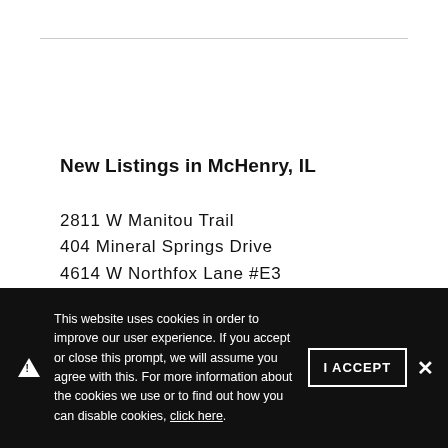New Listings in McHenry, IL
2811 W Manitou Trail
404 Mineral Springs Drive
4614 W Northfox Lane #E3
4919 W Oakwood Drive #D
28903 W South Drive
This website uses cookies in order to improve our user experience. If you accept or close this prompt, we will assume you agree with this. For more information about the cookies we use or to find out how you can disable cookies, click here.